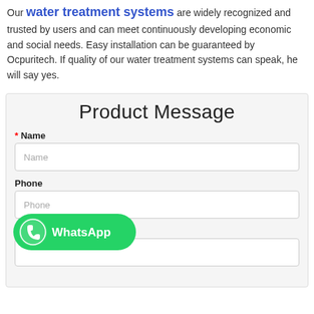Our water treatment systems are widely recognized and trusted by users and can meet continuously developing economic and social needs. Easy installation can be guaranteed by Ocpuritech. If quality of our water treatment systems can speak, he will say yes.
Product Message
* Name
Name (placeholder)
Phone
Phone (placeholder)
* Email
[Figure (logo): WhatsApp button with green rounded rectangle, WhatsApp icon and text 'WhatsApp']